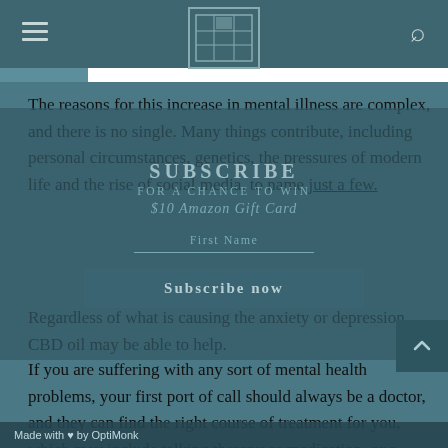[Navigation header with hamburger menu, logo, and search icon]
The reasons for this increase in mental illness are complex, and there is no single. Many things contribute, including personal circumstances, genetics, the pressures of modern life and the rise of social media, to name just a few.
Regardless of what is causing the anxiety or depression, CBD oil may be able to help.
[Figure (other): Popup overlay with 'SUBSCRIBE' heading, 'FOR A CHANCE TO WIN' subtitle, '$10 Amazon Gift Card' prize text, First Name input field, and 'Subscribe now' button]
If you are suffering with any sort of mental health problems, your first port of call should always be a doctor, and they can find the right course of treatment for you, which may include talking therapy or medication, or a combination of the two.
Made with ♥ by OptiMonk